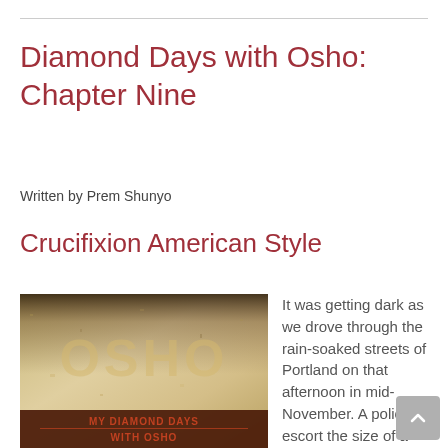Diamond Days with Osho: Chapter Nine
Written by Prem Shunyo
Crucifixion American Style
[Figure (photo): Book cover of 'My Diamond Days with Osho' featuring the OSHO text watermark on aged parchment-like background]
It was getting dark as we drove through the rain-soaked streets of Portland on that afternoon in mid-November. A police escort the size of a